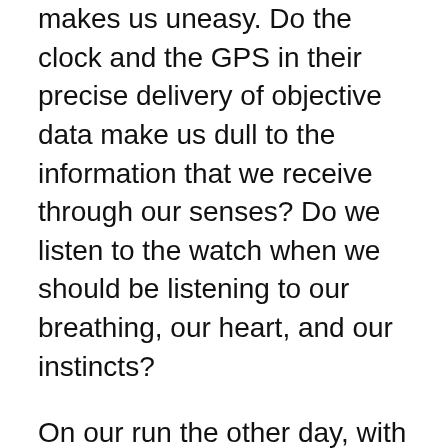makes us uneasy. Do the clock and the GPS in their precise delivery of objective data make us dull to the information that we receive through our senses? Do we listen to the watch when we should be listening to our breathing, our heart, and our instincts?
On our run the other day, with our watches chirping happily in the clear autumnal air, Joni mentioned that where she volunteers as a high school cross country coach, there is talk of banning GPS watches from races. As she explained it, one consideration is “leveling the playing field,” by not allowing a potential advantage to those who can afford the pricey GPS devices. Another consideration is to make sure the kids are developing pace sense, and learning to read their own bodies. I’m not sure it’s possible to put that genie back in the bottle, but I do think that the concern  forces us acknowledge that real-